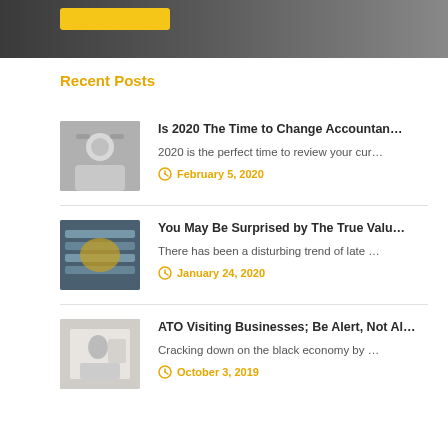[Figure (photo): Hero banner image with dark background and a yellow/gold button]
Recent Posts
[Figure (photo): Thumbnail of a woman with glasses smiling, arms crossed]
Is 2020 The Time to Change Accountan…
2020 is the perfect time to review your cur…
February 5, 2020
[Figure (photo): Thumbnail of stacked coins/data server image]
You May Be Surprised by The True Valu…
There has been a disturbing trend of late …
January 24, 2020
[Figure (photo): Thumbnail of a person on the phone at a desk]
ATO Visiting Businesses; Be Alert, Not Al…
Cracking down on the black economy by …
October 3, 2019